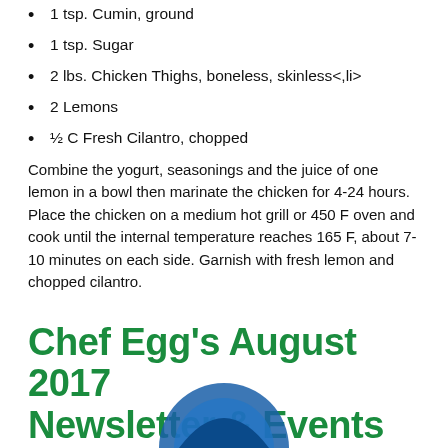1 tsp. Cumin, ground
1 tsp. Sugar
2 lbs. Chicken Thighs, boneless, skinless<,li>
2 Lemons
½ C Fresh Cilantro, chopped
Combine the yogurt, seasonings and the juice of one lemon in a bowl then marinate the chicken for 4-24 hours. Place the chicken on a medium hot grill or 450 F oven and cook until the internal temperature reaches 165 F, about 7-10 minutes on each side. Garnish with fresh lemon and chopped cilantro.
Chef Egg's August 2017 Newsletter & Events
Aug 2 | Events | 0 Comments
[Figure (photo): Partial view of a circular logo or photo, partially visible at bottom of page]